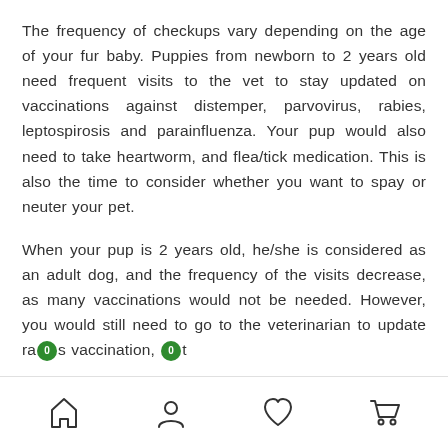The frequency of checkups vary depending on the age of your fur baby. Puppies from newborn to 2 years old need frequent visits to the vet to stay updated on vaccinations against distemper, parvovirus, rabies, leptospirosis and parainfluenza. Your pup would also need to take heartworm, and flea/tick medication. This is also the time to consider whether you want to spay or neuter your pet.
When your pup is 2 years old, he/she is considered as an adult dog, and the frequency of the visits decrease, as many vaccinations would not be needed. However, you would still need to go to the veterinarian to update rabies vaccination, [continues]
Navigation bar with home, profile, heart, and cart icons